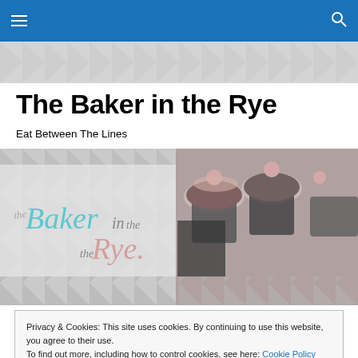The Baker in the Rye — navigation bar
The Baker in the Rye
Eat Between The Lines
[Figure (photo): Banner showing 'The Baker in the Rye' script logo on left, and a photo of chocolate cupcakes with pink ball decorations on right, with a grey chevron pattern background]
Privacy & Cookies: This site uses cookies. By continuing to use this website, you agree to their use.
To find out more, including how to control cookies, see here: Cookie Policy
[Close and accept]